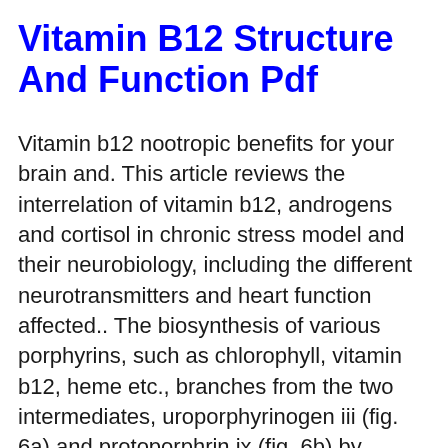Vitamin B12 Structure And Function Pdf
Vitamin b12 nootropic benefits for your brain and. This article reviews the interrelation of vitamin b12, androgens and cortisol in chronic stress model and their neurobiology, including the different neurotransmitters and heart function affected.. The biosynthesis of various porphyrins, such as chlorophyll, vitamin b12, heme etc., branches from the two intermediates, uroporphyrinogen iii (fig. 6a) and protoporphrin ix (fig. 6b) by insertion of either magnesium or iron into the central cavity and further